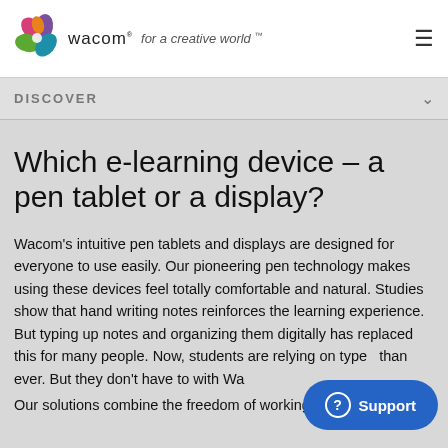[Figure (logo): Wacom logo with colorful flower emblem and tagline 'for a creative world']
DISCOVER
Which e-learning device – a pen tablet or a display?
Wacom's intuitive pen tablets and displays are designed for everyone to use easily. Our pioneering pen technology makes using these devices feel totally comfortable and natural. Studies show that hand writing notes reinforces the learning experience. But typing up notes and organizing them digitally has replaced this for many people. Now, students are relying on typing more than ever. But they don't have to with Wa[com]
Our solutions combine the freedom of working by hand...